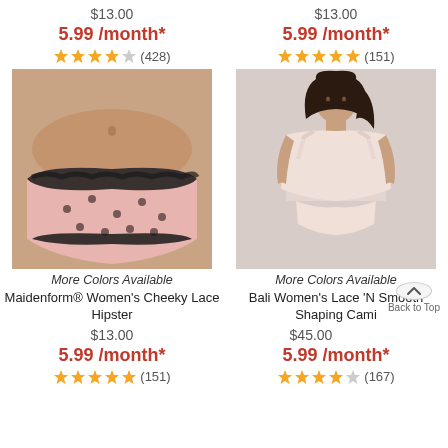$13.00
5.99 /month*
(428)
$13.00
5.99 /month*
(151)
[Figure (photo): Maidenform Women's Cheeky Lace Hipster underwear in pink with black lace trim and polka dots]
[Figure (photo): Bali Women's Lace N Smooth Shaping Cami worn by a model, cream/beige color]
More Colors Available
More Colors Available
Maidenform® Women's Cheeky Lace Hipster
Bali Women's Lace 'N Smooth Shaping Cami
$13.00
$45.00
5.99 /month*
5.99 /month*
(151)
(167)